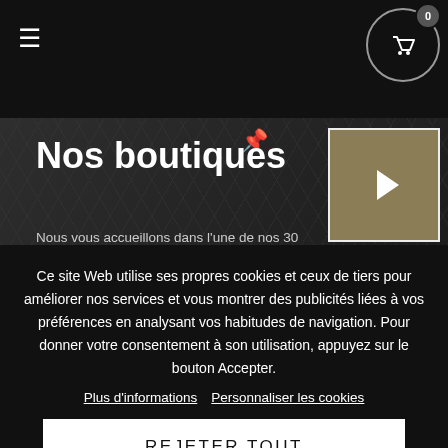[Figure (screenshot): Navigation bar with hamburger menu icon on left and shopping cart icon with badge showing 0 on right, on black background]
Nos boutiques
Nous vous accueillons dans l'une de nos 30 boutiques en Suisse.
[Figure (map): Map thumbnail with gold/tan background and white arrow pointing left]
Ce site Web utilise ses propres cookies et ceux de tiers pour améliorer nos services et vous montrer des publicités liées à vos préférences en analysant vos habitudes de navigation. Pour donner votre consentement à son utilisation, appuyez sur le bouton Accepter.
Plus d'informations    Personnaliser les cookies
REJETER TOUT
J'ACCEPTE